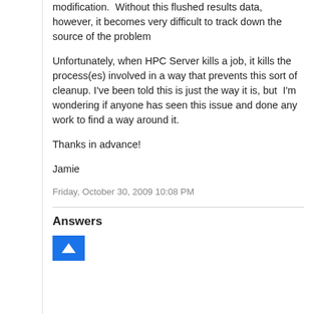modification.  Without this flushed results data, however, it becomes very difficult to track down the source of the problem
Unfortunately, when HPC Server kills a job, it kills the process(es) involved in a way that prevents this sort of cleanup. I've been told this is just the way it is, but  I'm wondering if anyone has seen this issue and done any work to find a way around it.
Thanks in advance!
Jamie
Friday, October 30, 2009 10:08 PM
Answers